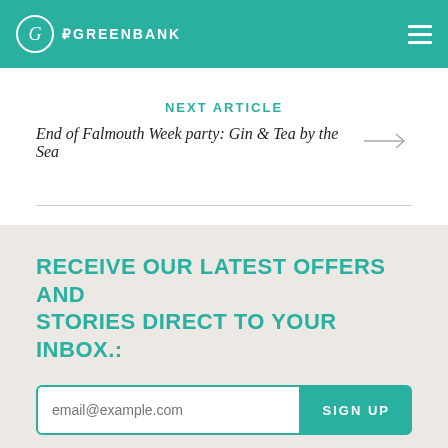THE GREENBANK
NEXT ARTICLE
End of Falmouth Week party: Gin & Tea by the Sea
RECEIVE OUR LATEST OFFERS AND STORIES DIRECT TO YOUR INBOX.:
email@example.com  SIGN UP
FAQs /Our good deeds /Careers /Gift vouchers